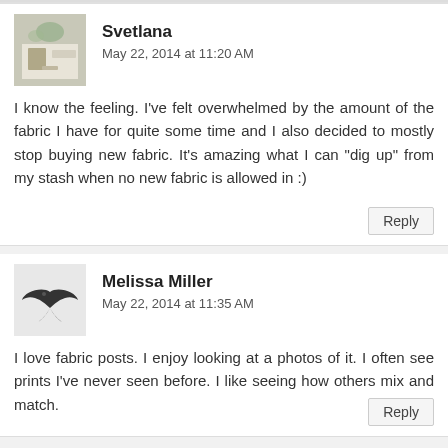Svetlana
May 22, 2014 at 11:20 AM
I know the feeling. I've felt overwhelmed by the amount of the fabric I have for quite some time and I also decided to mostly stop buying new fabric. It's amazing what I can "dig up" from my stash when no new fabric is allowed in :)
Reply
Melissa Miller
May 22, 2014 at 11:35 AM
I love fabric posts. I enjoy looking at a photos of it. I often see prints I've never seen before. I like seeing how others mix and match.
Reply